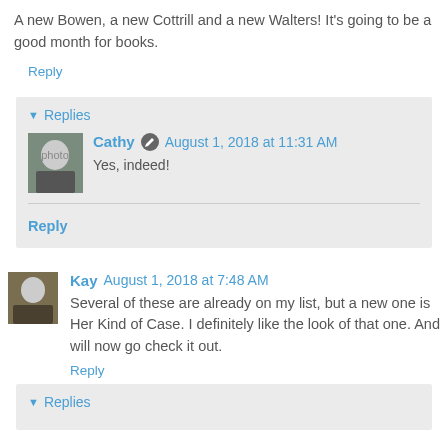A new Bowen, a new Cottrill and a new Walters! It's going to be a good month for books.
Reply
▾ Replies
Cathy  August 1, 2018 at 11:31 AM
Yes, indeed!
Reply
Kay  August 1, 2018 at 7:48 AM
Several of these are already on my list, but a new one is Her Kind of Case. I definitely like the look of that one. And will now go check it out.
Reply
▾ Replies